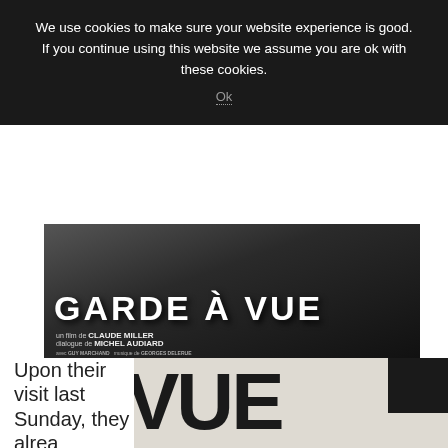We use cookies to make sure your website experience is good. If you continue using this website we assume you are ok with these cookies.
Ok
[Figure (photo): Movie poster for 'Garde à Vue' directed by Claude Miller, dialogue by Michel Audiard, with Guy Marchand and Georges Delerue]
[Figure (photo): Close-up detail of the movie poster showing partial letters 'VUE' in large bold text and partial credits 'ER ARD', with a handwritten signature 'FERRACY 21/8/81']
Upon their visit last Sunday, they alrea